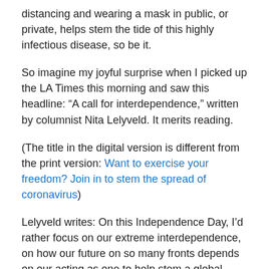distancing and wearing a mask in public, or private, helps stem the tide of this highly infectious disease, so be it.
So imagine my joyful surprise when I picked up the LA Times this morning and saw this headline: “A call for interdependence,” written by columnist Nita Lelyveld. It merits reading.
(The title in the digital version is different from the print version: Want to exercise your freedom? Join in to stem the spread of coronavirus)
Lelyveld writes: On this Independence Day, I’d rather focus on our extreme interdependence, on how our future on so many fronts depends on our acting as one to help stem a global pandemic. . . .
While perusing the paper, I also ran across this news